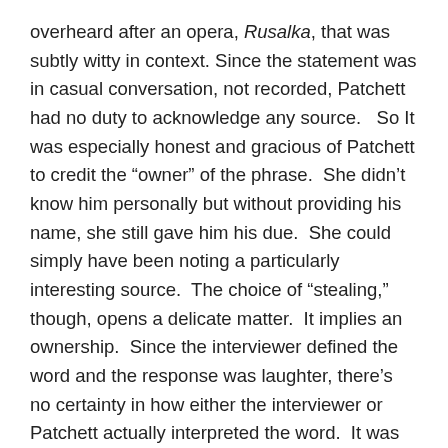overheard after an opera, Rusalka, that was subtly witty in context. Since the statement was in casual conversation, not recorded, Patchett had no duty to acknowledge any source.   So It was especially honest and gracious of Patchett to credit the “owner” of the phrase.  She didn’t know him personally but without providing his name, she still gave him his due.  She could simply have been noting a particularly interesting source.  The choice of “stealing,” though, opens a delicate matter.  It implies an ownership.  Since the interviewer defined the word and the response was laughter, there’s no certainty in how either the interviewer or Patchett actually interpreted the word.  It was softened in the acceptable acquiring of subjects and skills and tools from one’s environment.  This wasn’t really stealing. I agree. So what was it? A form of using another’s creation that’s acceptable.  How do we know when it’s